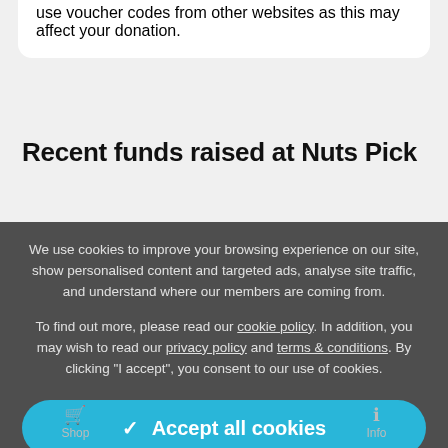use voucher codes from other websites as this may affect your donation.
Recent funds raised at Nuts Pick
We use cookies to improve your browsing experience on our site, show personalised content and targeted ads, analyse site traffic, and understand where our members are coming from.
To find out more, please read our cookie policy. In addition, you may wish to read our privacy policy and terms & conditions. By clicking "I accept", you consent to our use of cookies.
✓ Accept all cookies
⚙ Manage settings